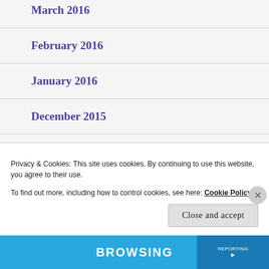March 2016
February 2016
January 2016
December 2015
November 2015
October 2015
September 2015
Privacy & Cookies: This site uses cookies. By continuing to use this website, you agree to their use. To find out more, including how to control cookies, see here: Cookie Policy
Close and accept